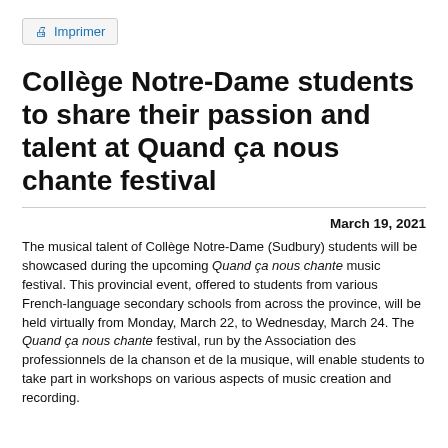[Figure (other): Print button with printer icon and 'Imprimer' label]
Collège Notre-Dame students to share their passion and talent at Quand ça nous chante festival
March 19, 2021
The musical talent of Collège Notre-Dame (Sudbury) students will be showcased during the upcoming Quand ça nous chante music festival. This provincial event, offered to students from various French-language secondary schools from across the province, will be held virtually from Monday, March 22, to Wednesday, March 24. The Quand ça nous chante festival, run by the Association des professionnels de la chanson et de la musique, will enable students to take part in workshops on various aspects of music creation and recording.